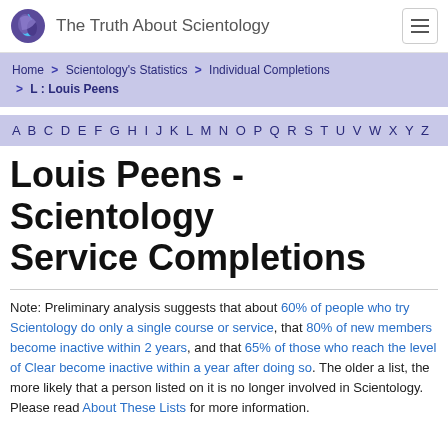The Truth About Scientology
Home > Scientology's Statistics > Individual Completions > L : Louis Peens
A B C D E F G H I J K L M N O P Q R S T U V W X Y Z
Louis Peens - Scientology Service Completions
Note: Preliminary analysis suggests that about 60% of people who try Scientology do only a single course or service, that 80% of new members become inactive within 2 years, and that 65% of those who reach the level of Clear become inactive within a year after doing so. The older a list, the more likely that a person listed on it is no longer involved in Scientology.
Please read About These Lists for more information.